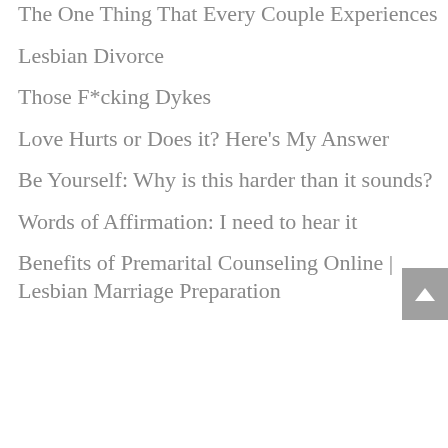The One Thing That Every Couple Experiences
Lesbian Divorce
Those F*cking Dykes
Love Hurts or Does it? Here's My Answer
Be Yourself: Why is this harder than it sounds?
Words of Affirmation: I need to hear it
Benefits of Premarital Counseling Online | Lesbian Marriage Preparation